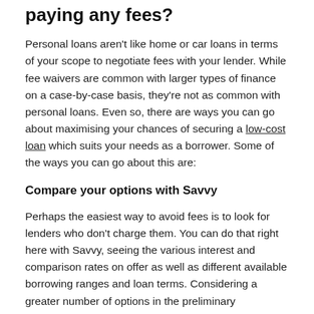paying any fees?
Personal loans aren't like home or car loans in terms of your scope to negotiate fees with your lender. While fee waivers are common with larger types of finance on a case-by-case basis, they're not as common with personal loans. Even so, there are ways you can go about maximising your chances of securing a low-cost loan which suits your needs as a borrower. Some of the ways you can go about this are:
Compare your options with Savvy
Perhaps the easiest way to avoid fees is to look for lenders who don't charge them. You can do that right here with Savvy, seeing the various interest and comparison rates on offer as well as different available borrowing ranges and loan terms. Considering a greater number of options in the preliminary comparison process will hold you in good stead when it comes to picking the best loan with the lowest fees.